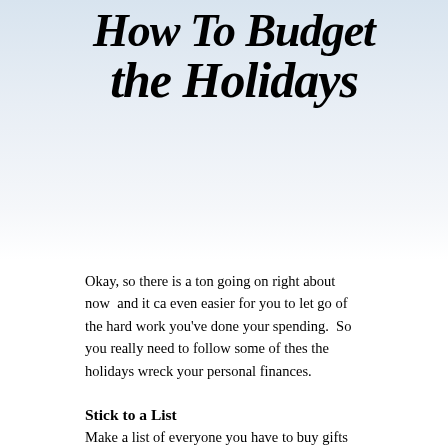[Figure (illustration): Light blue-grey gradient header background with decorative holiday/gift imagery, containing the title text 'How To Budget the Holidays' in large bold italic script font]
How To Budget the Holidays
Okay, so there is a ton going on right about now  and it can even easier for you to let go of the hard work you've done your spending.  So you really need to follow some of these the holidays wreck your personal finances.
Stick to a List
Make a list of everyone you have to buy gifts for, set a bu fits your budget.  Once you have everything written out o shopping and stay within the limits you've set for yoursel